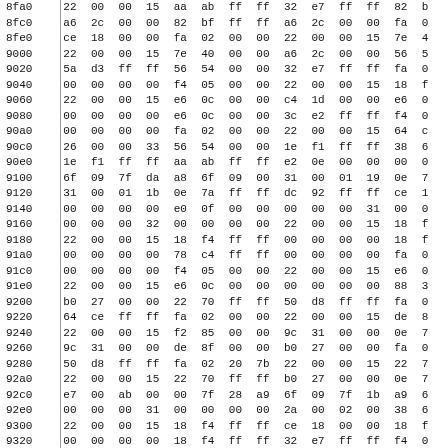| addr | b0 | b1 | b2 | b3 | b4 | b5 | b6 | b7 | b8 | b9 | ba | bb | bc | ... |
| --- | --- | --- | --- | --- | --- | --- | --- | --- | --- | --- | --- | --- | --- | --- |
| 8fa0 | 22 | 00 | 00 | 15 | aa | ab | ff | ff | 32 | e7 | ff | ff | 82 | b |
| 8fc0 | a6 | 2c | 00 | 00 | 82 | bf | ff | ff | a6 | 2c | 00 | 00 | fa | 0 |
| 8fe0 | ce | 18 | 00 | 00 | fa | 02 | 00 | 00 | 22 | 00 | 00 | 15 | 7e | 4 |
| 9000 | 22 | 00 | 00 | 15 | 7e | 40 | 00 | 00 | a6 | 2c | 00 | 00 | 56 | 5 |
| 9020 | 5a | d3 | ff | ff | 56 | 54 | 00 | 00 | 32 | e7 | ff | ff | fa | 0 |
| 9040 | 00 | 00 | 00 | 00 | f4 | 05 | 00 | 00 | 22 | 00 | 00 | 15 | 18 | f |
| 9060 | 22 | 00 | 00 | 15 | e6 | 0c | 00 | 00 | c4 | 1d | 00 | 00 | e6 | 0 |
| 9080 | 00 | 00 | 00 | 00 | e6 | 0c | 00 | 00 | 3c | e2 | ff | ff | f4 | 0 |
| 90a0 | 00 | 00 | 00 | 00 | fa | 02 | 00 | 00 | 22 | 00 | 00 | 15 | 64 | c |
| 90c0 | 26 | 00 | 00 | 33 | 56 | 54 | 00 | 00 | 1e | f1 | ff | ff | 38 | 6 |
| 90e0 | 1e | f1 | ff | ff | aa | ab | ff | ff | e2 | 0e | 00 | 00 | 00 | 0 |
| 9100 | 6f | 09 | 7f | da | a8 | 6f | 09 | 00 | 31 | 00 | 01 | 19 | 0e | 7 |
| 9120 | 31 | 00 | 01 | 1b | 0e | 7a | ff | ff | dc | 92 | ff | ff | ce | 1 |
| 9140 | 00 | 00 | 00 | 00 | e0 | 0f | 00 | 00 | 00 | 00 | 00 | 31 | 00 | 0 |
| 9160 | 00 | 00 | 00 | 32 | 00 | 00 | 00 | 00 | 22 | 00 | 00 | 15 | 18 | f |
| 9180 | 22 | 00 | 00 | 15 | 18 | f4 | ff | ff | 00 | 00 | 00 | 00 | 18 | f |
| 91a0 | 00 | 00 | 00 | 00 | 78 | c4 | ff | ff | 00 | 00 | 00 | 00 | fa | 0 |
| 91c0 | 00 | 00 | 00 | 00 | f4 | 05 | 00 | 00 | 22 | 00 | 00 | 15 | e6 | 0 |
| 91e0 | 22 | 00 | 00 | 15 | e6 | 0c | 00 | 00 | 00 | 00 | 00 | 00 | 88 | 3 |
| 9200 | b0 | 27 | 00 | 00 | 22 | 70 | ff | ff | 50 | d8 | ff | ff | fa | 0 |
| 9220 | 64 | ce | ff | ff | fa | 02 | 00 | 00 | 22 | 00 | 00 | 15 | de | 8 |
| 9240 | 22 | 00 | 00 | 15 | f2 | 85 | 00 | 00 | 9c | 31 | 00 | 00 | 0e | 7 |
| 9260 | 9c | 31 | 00 | 00 | de | 8f | 00 | 00 | b0 | 27 | 00 | 00 | fa | 0 |
| 9280 | 50 | d8 | ff | ff | fa | 02 | 20 | 7b | 22 | 00 | 00 | 15 | 22 | 7 |
| 92a0 | 22 | 00 | 00 | 15 | 22 | 70 | ff | ff | b0 | 27 | 00 | 00 | 0e | 7 |
| 92c0 | e7 | 00 | ab | 00 | 00 | 7f | 28 | a9 | 6f | 09 | 7f | 1b | a9 | 6 |
| 92e0 | 00 | 00 | 00 | 31 | 00 | 00 | 00 | 00 | 2a | 00 | 02 | 00 | 38 | 6 |
| 9300 | 22 | 00 | 00 | 15 | 18 | f4 | ff | ff | ce | 18 | 00 | 00 | 18 | f |
| 9320 | 00 | 00 | 00 | 00 | 18 | f4 | ff | ff | 32 | e7 | ff | ff | f4 | 0 |
| 9340 | 00 | 00 | 00 | 00 | fa | 02 | 00 | 00 | 22 | 00 | 00 | 15 | e6 | 0 |
| 9360 | 00 | 00 | 00 | 15 | e | 0 | 00 | 00 | 00 | 00 | 00 | 00 |  |  |